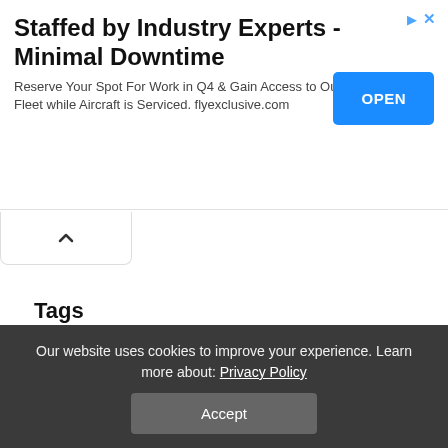[Figure (infographic): Advertisement banner: 'Staffed by Industry Experts - Minimal Downtime' with OPEN button and Reserve Your Spot text for flyexclusive.com]
Tags
AIRCRAFT PROFILE
AIRCRAFT RESTORATION
AIRLINE INDUSTRY
AIRLINE PILOT
AIRPLANE
AIR TRAFFIC CONTROL
AIRWORTHINESS DIRECTIVES
AMAZING AIRPORTS
AOPA
AVIATION
AVIATION HISTORY
Our website uses cookies to improve your experience. Learn more about: Privacy Policy
Accept